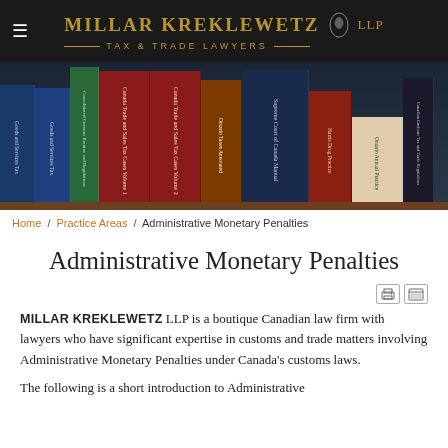MILLAR KREKLEWETZ LLP — TAX & TRADE LAWYERS
[Figure (photo): Bookshelf with legal reference books including Canada Trade and Sales Tax Cases, Goods and Services Tax volumes, Supreme Court of Canada Manual, Ontario Taxes, and other legal texts.]
Home / Practice Areas / Administrative Monetary Penalties
Administrative Monetary Penalties
MILLAR KREKLEWETZ LLP is a boutique Canadian law firm with lawyers who have significant expertise in customs and trade matters involving Administrative Monetary Penalties under Canada's customs laws.
The following is a short introduction to Administrative